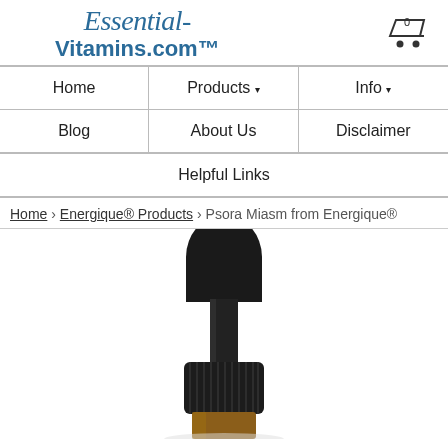Essential-Vitamins.com™
Home | Products | Info | Blog | About Us | Disclaimer | Helpful Links
Home › Energique® Products › Psora Miasm from Energique®
[Figure (photo): Close-up photo of a dark glass dropper bottle top with a black rubber bulb dropper cap and ribbed black screw cap, on a white background.]